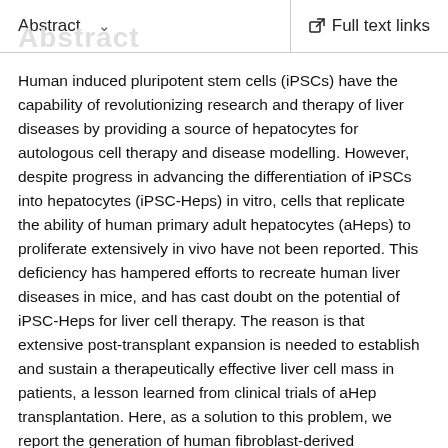Abstract   Full text links
Human induced pluripotent stem cells (iPSCs) have the capability of revolutionizing research and therapy of liver diseases by providing a source of hepatocytes for autologous cell therapy and disease modelling. However, despite progress in advancing the differentiation of iPSCs into hepatocytes (iPSC-Heps) in vitro, cells that replicate the ability of human primary adult hepatocytes (aHeps) to proliferate extensively in vivo have not been reported. This deficiency has hampered efforts to recreate human liver diseases in mice, and has cast doubt on the potential of iPSC-Heps for liver cell therapy. The reason is that extensive post-transplant expansion is needed to establish and sustain a therapeutically effective liver cell mass in patients, a lesson learned from clinical trials of aHep transplantation. Here, as a solution to this problem, we report the generation of human fibroblast-derived hepatocytes that can engraft to provide a liver-like...